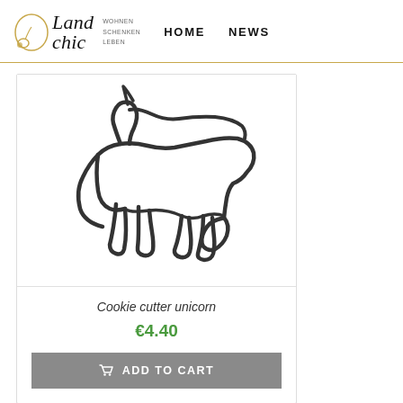Land chic | WOHNEN SCHENKEN LEBEN | HOME | NEWS
[Figure (photo): A metal cookie cutter in the shape of a unicorn, photographed on a white background. The cutter shows the outline of a unicorn with a horn, body, legs, and tail.]
Cookie cutter unicorn
€4.40
ADD TO CART